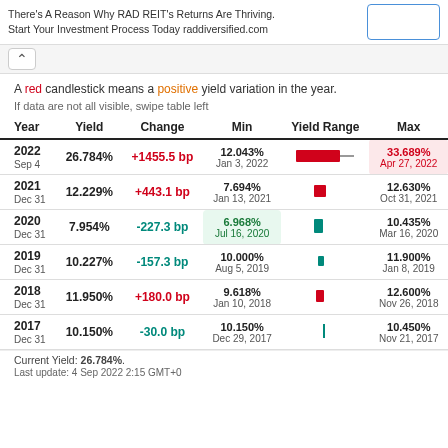There's A Reason Why RAD REIT's Returns Are Thriving. Start Your Investment Process Today raddiversified.com
A red candlestick means a positive yield variation in the year.
If data are not all visible, swipe table left
| Year | Yield | Change | Min | Yield Range | Max |
| --- | --- | --- | --- | --- | --- |
| 2022 Sep 4 | 26.784% | +1455.5 bp | 12.043% Jan 3, 2022 | (bar) | 33.689% Apr 27, 2022 |
| 2021 Dec 31 | 12.229% | +443.1 bp | 7.694% Jan 13, 2021 | (bar) | 12.630% Oct 31, 2021 |
| 2020 Dec 31 | 7.954% | -227.3 bp | 6.968% Jul 16, 2020 | (bar) | 10.435% Mar 16, 2020 |
| 2019 Dec 31 | 10.227% | -157.3 bp | 10.000% Aug 5, 2019 | (bar) | 11.900% Jan 8, 2019 |
| 2018 Dec 31 | 11.950% | +180.0 bp | 9.618% Jan 10, 2018 | (bar) | 12.600% Nov 26, 2018 |
| 2017 Dec 31 | 10.150% | -30.0 bp | 10.150% Dec 29, 2017 | (bar) | 10.450% Nov 21, 2017 |
Current Yield: 26.784%.
Last update: 4 Sep 2022 2:15 GMT+0